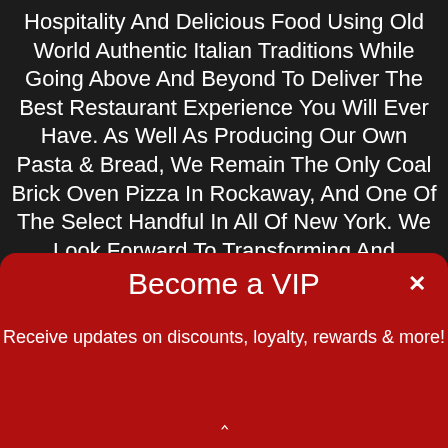Hospitality And Delicious Food Using Old World Authentic Italian Traditions While Going Above And Beyond To Deliver The Best Restaurant Experience You Will Ever Have. As Well As Producing Our Own Pasta & Bread, We Remain The Only Coal Brick Oven Pizza In Rockaway, And One Of The Select Handful In All Of New York. We Look Forward To Transforming And Elevating Traditional Eating And Drinking Experiences By Pairing Our Custom Coal Brick Oven And Homemade Italian Cooking With Chic Cocktails From Our Licensed Mixologists. As
[Figure (screenshot): A red popup modal overlay at the bottom of the screen with title 'Become a VIP', subtitle 'Receive updates on discounts, loyalty, rewards & more!', an X close button, and an upward chevron arrow at the bottom.]